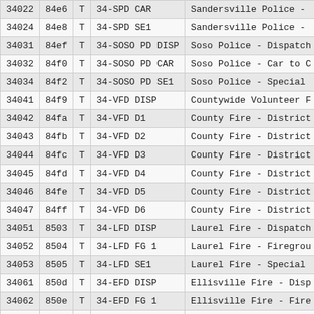| 34022 | 84e6 | T | 34-SPD CAR | Sandersville Police - |
| 34024 | 84e8 | T | 34-SPD SE1 | Sandersville Police - |
| 34031 | 84ef | T | 34-SOSO PD DISP | Soso Police - Dispatch |
| 34032 | 84f0 | T | 34-SOSO PD CAR | Soso Police - Car to C |
| 34034 | 84f2 | T | 34-SOSO PD SE1 | Soso Police - Special |
| 34041 | 84f9 | T | 34-VFD DISP | Countywide Volunteer F |
| 34042 | 84fa | T | 34-VFD D1 | County Fire - District |
| 34043 | 84fb | T | 34-VFD D2 | County Fire - District |
| 34044 | 84fc | T | 34-VFD D3 | County Fire - District |
| 34045 | 84fd | T | 34-VFD D4 | County Fire - District |
| 34046 | 84fe | T | 34-VFD D5 | County Fire - District |
| 34047 | 84ff | T | 34-VFD D6 | County Fire - District |
| 34051 | 8503 | T | 34-LFD DISP | Laurel Fire - Dispatch |
| 34052 | 8504 | T | 34-LFD FG 1 | Laurel Fire - Firegrou |
| 34053 | 8505 | T | 34-LFD SE1 | Laurel Fire - Special |
| 34061 | 850d | T | 34-EFD DISP | Ellisville Fire - Disp |
| 34062 | 850e | T | 34-EFD FG 1 | Ellisville Fire - Fire |
| 34063 | 850f | T | 34-EFD SE1 | Ellisville Fire - Spec |
| 34072 | 8518 | T | 34-EMS EM RESP | EMS Emergency Response |